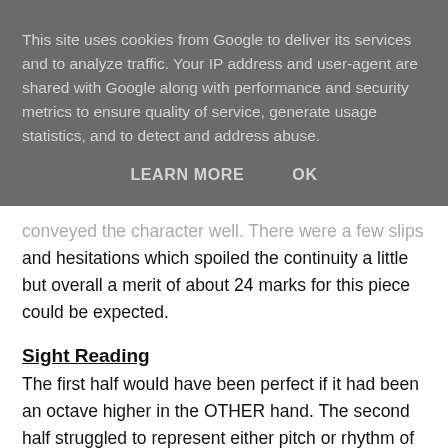This site uses cookies from Google to deliver its services and to analyze traffic. Your IP address and user-agent are shared with Google along with performance and security metrics to ensure quality of service, generate usage statistics, and to detect and address abuse.
LEARN MORE    OK
conveyed the character well. There were a few slips and hesitations which spoiled the continuity a little but overall a merit of about 24 marks for this piece could be expected.
Sight Reading
The first half would have been perfect if it had been an octave higher in the OTHER hand. The second half struggled to represent either pitch or rhythm of what was printed and so unfortunately this would probably score only 8 marks, below the pass mark of 14.